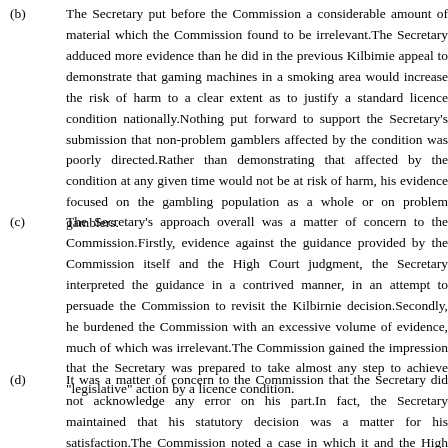(b) The Secretary put before the Commission a considerable amount of material which the Commission found to be irrelevant.The Secretary adduced more evidence than he did in the previous Kilbimie appeal to demonstrate that gaming machines in a smoking area would increase the risk of harm to a clear extent as to justify a standard licence condition nationally.Nothing put forward to support the Secretary's submission that non-problem gamblers affected by the condition was poorly directed.Rather than demonstrating that affected by the condition at any given time would not be at risk of harm, his evidence focused on the gambling population as a whole or on problem gamblers.
(c) The Secretary's approach overall was a matter of concern to the Commission.Firstly, evidence against the guidance provided by the Commission itself and the High Court judgment, the Secretary interpreted the guidance in a contrived manner, in an attempt to persuade the Commission to revisit the Kilbirnie decision.Secondly, he burdened the Commission with an excessive volume of evidence, much of which was irrelevant.The Commission gained the impression that the Secretary was prepared to take almost any step to achieve "legislative" action by a licence condition.
(d) It was a matter of concern to the Commission that the Secretary did not acknowledge any error on his part.In fact, the Secretary maintained that his statutory decision was a matter for his satisfaction.The Commission noted a case in which it and the High Court had provided guidance.